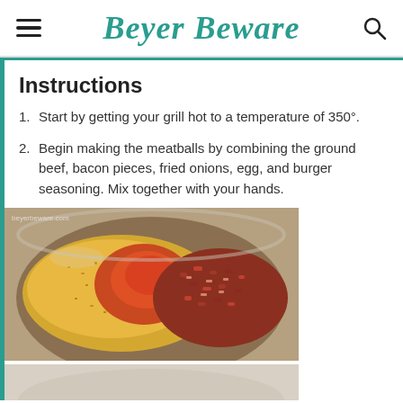Beyer Beware
Instructions
Start by getting your grill hot to a temperature of 350°.
Begin making the meatballs by combining the ground beef, bacon pieces, fried onions, egg, and burger seasoning. Mix together with your hands.
[Figure (photo): A bowl containing spices, fried onions, and bacon pieces ready to be mixed together for meatballs.]